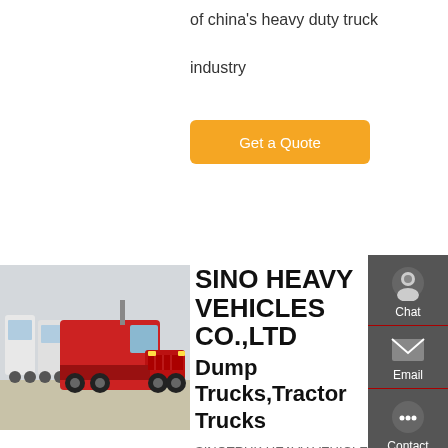of china's heavy duty truck industry
Get a Quote
[Figure (photo): Red Sinotruk tractor truck in a yard with white trucks in background]
SINO HEAVY VEHICLES CO.,LTD Dump Trucks,Tractor Trucks
SINOTRUK HEAVY VEHICLES CO,.LTD was established in 2002.It is an authorized company of China National Heavy Duty Truck Group Co., Ltd. (hereafter
Chat
Email
Contact
Top